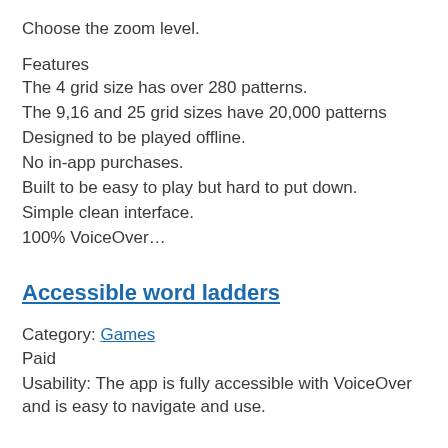Choose the zoom level.
Features
The 4 grid size has over 280 patterns.
The 9,16 and 25 grid sizes have 20,000 patterns
Designed to be played offline.
No in-app purchases.
Built to be easy to play but hard to put down.
Simple clean interface.
100% VoiceOver…
Accessible word ladders
Category: Games
Paid
Usability: The app is fully accessible with VoiceOver and is easy to navigate and use.